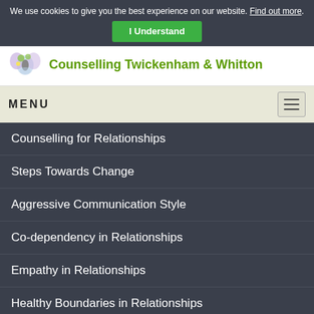We use cookies to give you the best experience on our website. Find out more.
I Understand
[Figure (logo): Butterfly/floral logo for Counselling Twickenham & Whitton]
Counselling Twickenham & Whitton
MENU
Counselling for Relationships
Steps Towards Change
Aggressive Communication Style
Co-dependency in Relationships
Empathy in Relationships
Healthy Boundaries in Relationships
How to Argue Constructively
Communicate Effectively
How to Practice Empathy